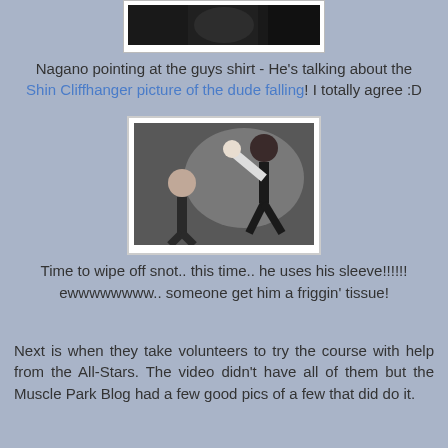[Figure (photo): Top portion of an image showing people, partially cropped at the top of the page]
Nagano pointing at the guys shirt - He's talking about the Shin Cliffhanger picture of the dude falling! I totally agree :D
[Figure (photo): Two people, one raising a fist/arm, in a dark indoor setting]
Time to wipe off snot.. this time.. he uses his sleeve!!!!! ewwwwwwww.. someone get him a friggin' tissue!
Next is when they take volunteers to try the course with help from the All-Stars. The video didn't have all of them but the Muscle Park Blog had a few good pics of a few that did do it.